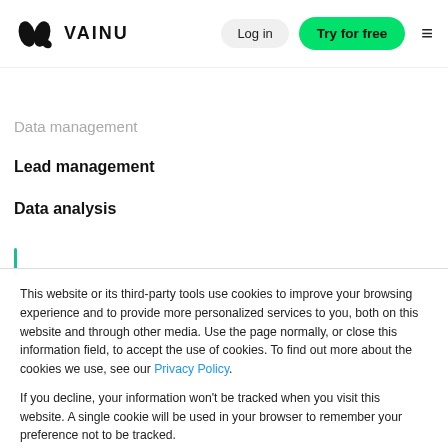VAINU — Log in | Try for free
Data management
Lead management
Data analysis
This website or its third-party tools use cookies to improve your browsing experience and to provide more personalized services to you, both on this website and through other media. Use the page normally, or close this information field, to accept the use of cookies. To find out more about the cookies we use, see our Privacy Policy.
If you decline, your information won't be tracked when you visit this website. A single cookie will be used in your browser to remember your preference not to be tracked.